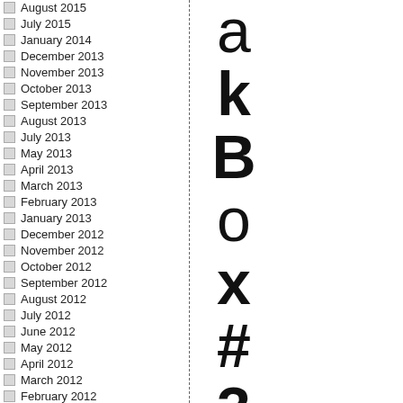August 2015
July 2015
January 2014
December 2013
November 2013
October 2013
September 2013
August 2013
July 2013
May 2013
April 2013
March 2013
February 2013
January 2013
December 2012
November 2012
October 2012
September 2012
August 2012
July 2012
June 2012
May 2012
April 2012
March 2012
February 2012
January 2012
December 2011
akBox#3:199